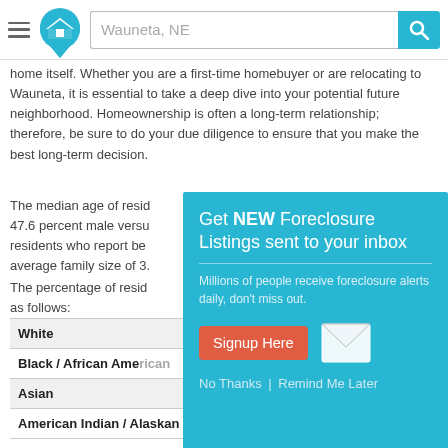Wauneta, NE — navigation bar with home logo and search
home itself. Whether you are a first-time homebuyer or are relocating to Wauneta, it is essential to take a deep dive into your potential future neighborhood. Homeownership is often a long-term relationship; therefore, be sure to do your due diligence to ensure that you make the best long-term decision.
The median age of residents is 47.6 percent male versus residents who report be average family size of 3.
The percentage of residents as follows:
| Race/Ethnicity | Percentage |
| --- | --- |
| White |  |
| Black / African American |  |
| Asian | 0% |
| American Indian / Alaskan Native | 0% |
[Figure (screenshot): Modal popup: Get NEW Foreclosure Listings sent to your inbox. Millions of people receive foreclosure alerts daily, don't miss out. Signup Here button. No Thanks | Remind Me Later links.]